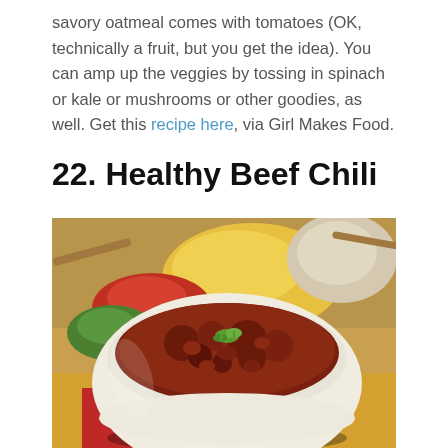savory oatmeal comes with tomatoes (OK, technically a fruit, but you get the idea). You can amp up the veggies by tossing in spinach or kale or mushrooms or other goodies, as well. Get this recipe here, via Girl Makes Food.
22. Healthy Beef Chili
[Figure (photo): A white bowl filled with hearty beef chili topped with green onion pieces, surrounded by colorful bell peppers (yellow, red, green) and onion in the background, placed on a red napkin on a yellow surface.]